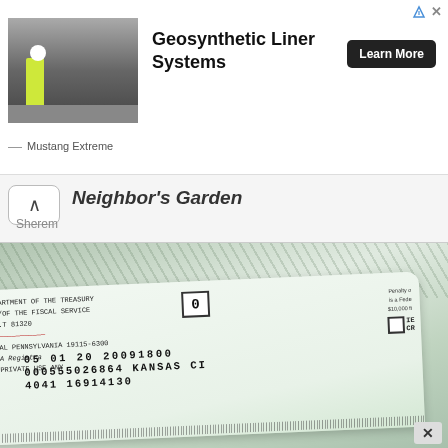[Figure (photo): Advertisement banner showing a worker in yellow high-vis jacket on a dark geosynthetic liner installation site]
Geosynthetic Liner Systems
Learn More
Mustang Extreme
Neighbor's Garden
Sherem
[Figure (photo): Close-up photo of a US Treasury IRS check envelope showing MICR line with routing and account numbers: 05 01 20 20091800, 000555026864, KANSAS CITY, 4041 16914130. Return address shows DEPARTMENT OF THE TREASURY / OF THE FISCAL SERVICE / RT 81320 / OVAL PENNSYLVANIA 19115-6300. Penalty notice text partially visible on right side.]